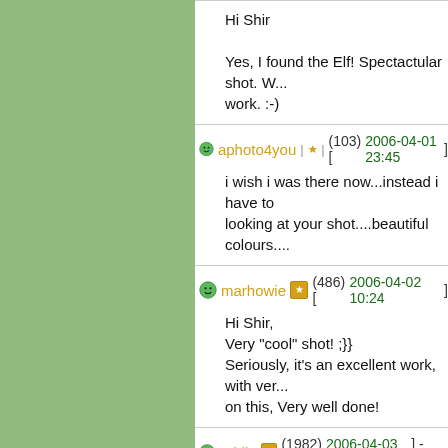Hi Shir

Yes, I found the Elf! Spectactular shot. W... work. :-)
aphoto4you | ★ | (103) [2006-04-01 23:45]
i wish i was there now...instead i have to looking at your shot....beautiful colours....
marhowie 🏆 (486) [2006-04-02 10:24]
Hi Shir,
Very "cool" shot! ;}}
Seriously, it's an excellent work, with ver... on this, Very well done!
Athila 🏆 (1982) [2006-04-03 12:43] - [wo...
Hi Shir!

Magnificent image. It's part nature, part a... couldn't be better with shadows and high... Snowland could be a fantastic world whe...

Great shot and TFS
Aramok 🏆 (5166) [2006-04-04 6:41]
WOW - what can I say - this is amazing a...

Stunning, the detail, colours and exposur...